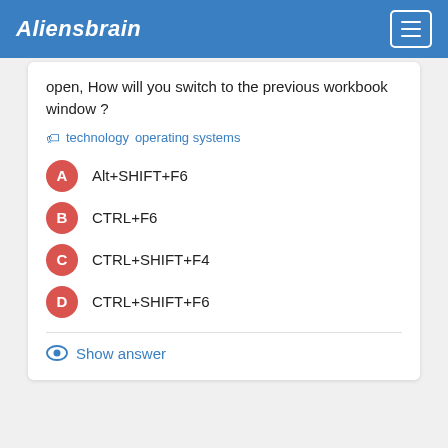Aliensbrain
open, How will you switch to the previous workbook window ?
technology  operating systems
A  Alt+SHIFT+F6
B  CTRL+F6
C  CTRL+SHIFT+F4
D  CTRL+SHIFT+F6
Show answer